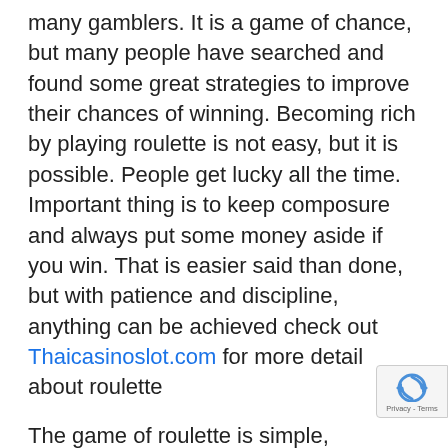many gamblers. It is a game of chance, but many people have searched and found some great strategies to improve their chances of winning. Becoming rich by playing roulette is not easy, but it is possible. People get lucky all the time. Important thing is to keep composure and always put some money aside if you win. That is easier said than done, but with patience and discipline, anything can be achieved check out Thaicasinoslot.com for more detail about roulette
The game of roulette is simple, attractive, and can make you rich within seconds. You have many betting choices available within the game. You can bet on numbers between 0 and 36, a sequence of numbers, odd or even numbers, or bet on the color red or black. Each of those has specific odds and guessing the correct number pays out the most. What is good roulette is that you can become rich by investing little